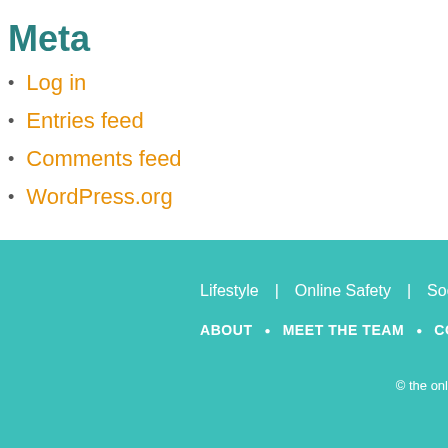Meta
Log in
Entries feed
Comments feed
WordPress.org
Lifestyle | Online Safety | Social
ABOUT • MEET THE TEAM • CONTA
© the onl